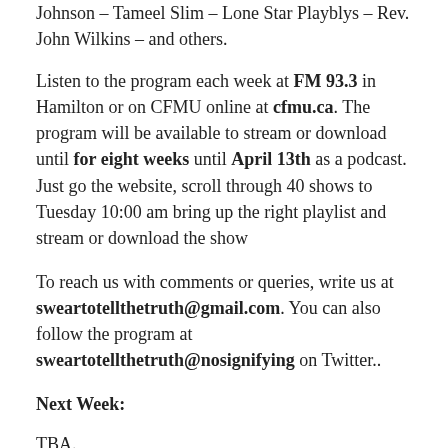Johnson – Tameel Slim – Lone Star Playblys – Rev. John Wilkins – and others.
Listen to the program each week at FM 93.3 in Hamilton or on CFMU online at cfmu.ca. The program will be available to stream or download until for eight weeks until April 13th as a podcast. Just go the website, scroll through 40 shows to Tuesday 10:00 am bring up the right playlist and stream or download the show
To reach us with comments or queries, write us at sweartotellthetruth@gmail.com. You can also follow the program at sweartotellthetruth@nosignifying on Twitter..
Next Week:
TBA.